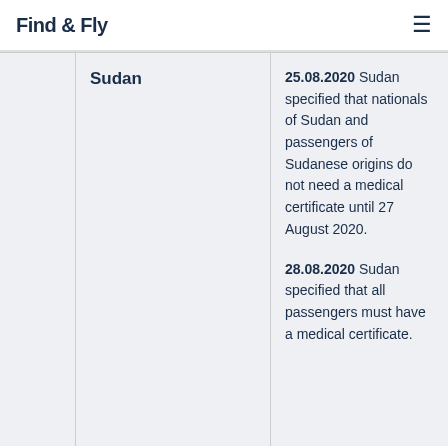Find & Fly
|  | Country | Info | Status |
| --- | --- | --- | --- |
|  | Sudan | 25.08.2020 Sudan specified that nationals of Sudan and passengers of Sudanese origins do not need a medical certificate until 27 August 2020.

28.08.2020 Sudan specified that all passengers must have a medical certificate. | Partially Re... |